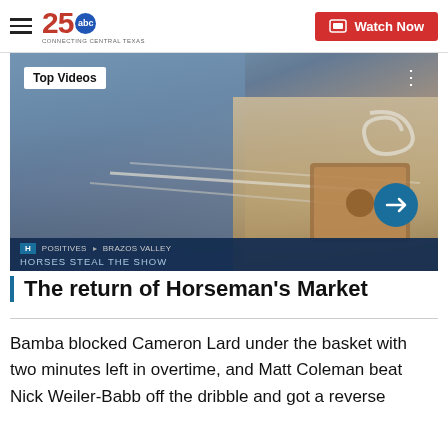25 ABC Connecting Central Texas — Watch Now
[Figure (screenshot): Video thumbnail showing a person handling rope/tack at what appears to be a horseman's market event. Overlaid badge reads 'Top Videos'. Lower bar shows tags 'POSITIVES', 'BRAZOS VALLEY', 'HORSES STEAL THE SHOW'. Arrow navigation button visible.]
The return of Horseman's Market
Bamba blocked Cameron Lard under the basket with two minutes left in overtime, and Matt Coleman beat Nick Weiler-Babb off the dribble and got a reverse